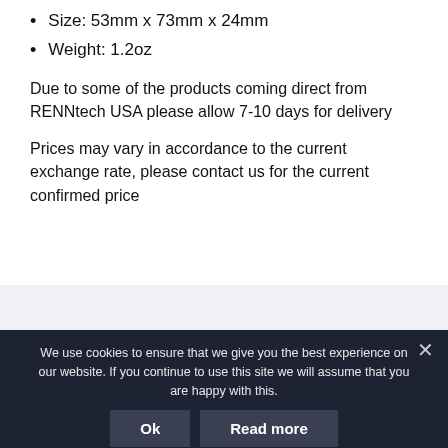Size: 53mm x 73mm x 24mm
Weight: 1.2oz
Due to some of the products coming direct from RENNtech USA please allow 7-10 days for delivery
Prices may vary in accordance to the current exchange rate, please contact us for the current confirmed price
Related products
We use cookies to ensure that we give you the best experience on our website. If you continue to use this site we will assume that you are happy with this.